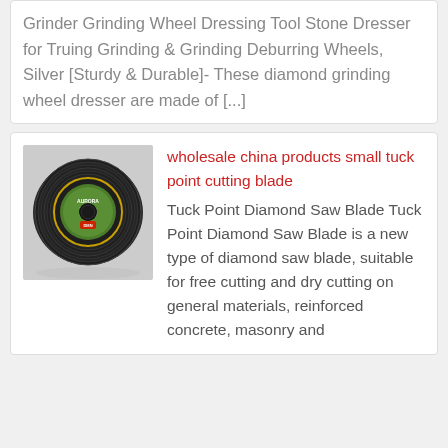Grinder Grinding Wheel Dressing Tool Stone Dresser for Truing Grinding & Grinding Deburring Wheels, Silver [Sturdy & Durable]- These diamond grinding wheel dresser are made of [...]
[Figure (photo): A coiled black diamond cutting blade / tuck point saw blade disc with a green center hub, stacked in a spiral. Brand name visible on green hub.]
wholesale china products small tuck point cutting blade
Tuck Point Diamond Saw Blade Tuck Point Diamond Saw Blade is a new type of diamond saw blade, suitable for free cutting and dry cutting on general materials, reinforced concrete, masonry and